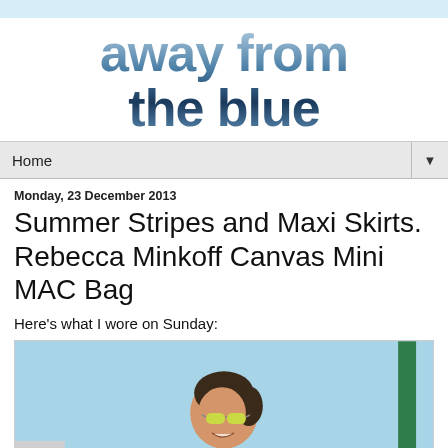[Figure (logo): Blog logo reading 'away from the blue' in large bold metallic blue text]
Home ▼
Monday, 23 December 2013
Summer Stripes and Maxi Skirts. Rebecca Minkoff Canvas Mini MAC Bag
Here's what I wore on Sunday:
[Figure (photo): Photo of a young woman with sunglasses and dark hair smiling outdoors against a blue sky, with a green pole on the right side]